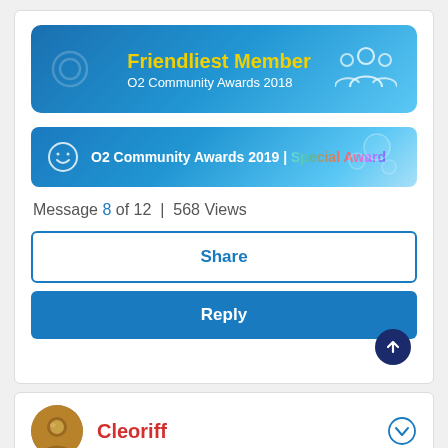[Figure (illustration): Friendliest Member - O2 Community Awards 2018 banner with blue gradient background, yellow bold title text, people icon on right]
[Figure (illustration): O2 Community Awards 2019 | Special Award banner with blue gradient background, smiley icon on left, bubble decoration on right]
Message 8 of 12 | 568 Views
Share
Reply
Cleoriff